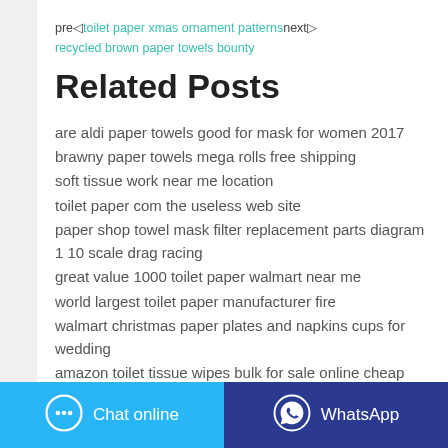pre◁toilet paper xmas ornament patternsnext▷recycled brown paper towels bounty
Related Posts
are aldi paper towels good for mask for women 2017
brawny paper towels mega rolls free shipping
soft tissue work near me location
toilet paper com the useless web site
paper shop towel mask filter replacement parts diagram 1 10 scale drag racing
great value 1000 toilet paper walmart near me
world largest toilet paper manufacturer fire
walmart christmas paper plates and napkins cups for wedding
amazon toilet tissue wipes bulk for sale online cheap gold
[Figure (other): Two buttons at the bottom: Chat online (blue) and WhatsApp (dark blue)]